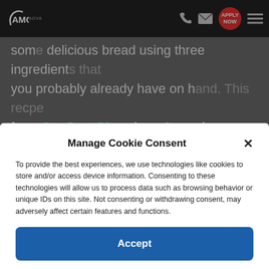[Figure (screenshot): Website navigation bar with AMC logo, phone icon, mail icon, Apply Now button, and hamburger menu]
some delicious bread using three ingredients that you probably already have on hand. This recipe from Our Best Bites doesn't require kneading and rises in the fridge overnight. Just form the loaves on Saturday night, then bake them early the next
Manage Cookie Consent
To provide the best experiences, we use technologies like cookies to store and/or access device information. Consenting to these technologies will allow us to process data such as browsing behavior or unique IDs on this site. Not consenting or withdrawing consent, may adversely affect certain features and functions.
Accept
Cookie Policy  Privacy Statement